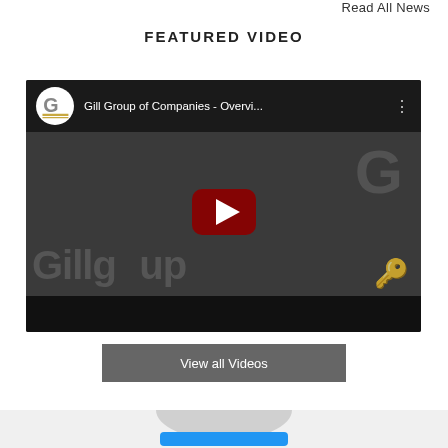Read All News
FEATURED VIDEO
[Figure (screenshot): YouTube video player showing 'Gill Group of Companies - Overvi...' with the Gill Group logo icon, a dark thumbnail background with 'Gillgroup' text watermark and YouTube play button in the center]
View all Videos
[Figure (other): Bottom strip with partial circular element and blue button visible]